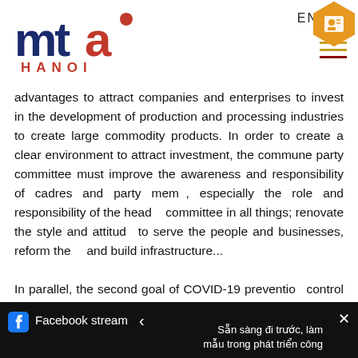[Figure (logo): MTA Hanoi logo with dark blue 'mta' text, red circle accent, and red 'HANOI' text below]
EN VI
advantages to attract companies and enterprises to invest in the development of production and processing industries to create large commodity products. In order to create a clear environment to attract investment, the commune party committee must improve the awareness and responsibility of cadres and party members, especially the role and responsibility of the head of committee in all things; renovate the style and attitude to serve the people and businesses, reform the... and build infrastructure...
In parallel, the second goal of COVID-19 prevention and control has been strengthened by Ha Trung di...
Facebook stream   Sẵn sàng đi trước, làm mẫu trong phát triển công